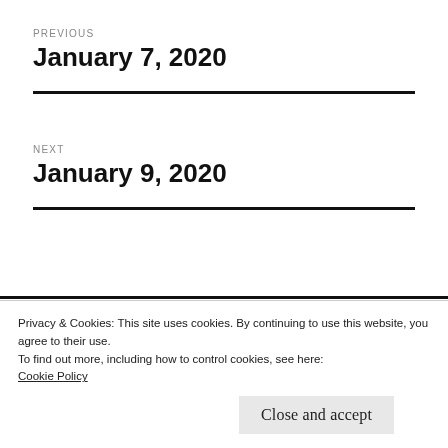PREVIOUS
January 7, 2020
NEXT
January 9, 2020
Privacy & Cookies: This site uses cookies. By continuing to use this website, you agree to their use.
To find out more, including how to control cookies, see here:
Cookie Policy
Close and accept